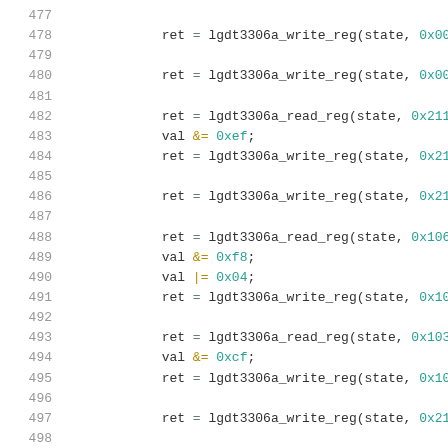Code listing lines 477-498, C source code with register read/write operations for lgdt3306a device driver
477
478    ret = lgdt3306a_write_reg(state, 0x0022...
479
480    ret = lgdt3306a_write_reg(state, 0x0023...
481
482    ret = lgdt3306a_read_reg(state, 0x211f,...
483    val &= 0xef;
484    ret = lgdt3306a_write_reg(state, 0x211f...
485
486    ret = lgdt3306a_write_reg(state, 0x2173...
487
488    ret = lgdt3306a_read_reg(state, 0x1061,...
489    val &= 0xf8;
490    val |= 0x04;
491    ret = lgdt3306a_write_reg(state, 0x1061...
492
493    ret = lgdt3306a_read_reg(state, 0x103d,...
494    val &= 0xcf;
495    ret = lgdt3306a_write_reg(state, 0x103d...
496
497    ret = lgdt3306a_write_reg(state, 0x2122...
498